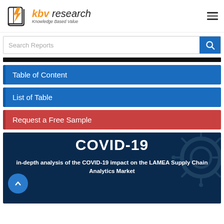KBV Research – Knowledge Based Value
Search Reports
Table of Content
List of Table
Request a Free Sample
[Figure (illustration): COVID-19 dark blue banner with virus illustration in background, showing title COVID-19 and text: in-depth analysis of the COVID-19 impact on the LAMEA Supply Chain Analytics Market]
in-depth analysis of the COVID-19 impact on the LAMEA Supply Chain Analytics Market